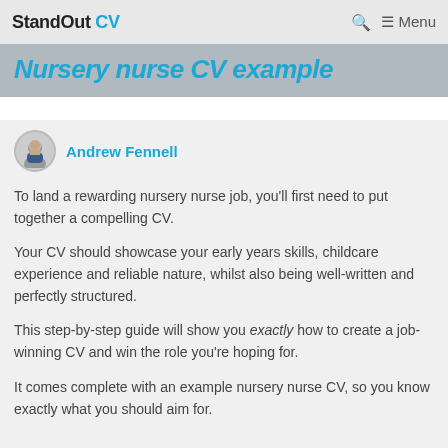StandOut CV — Menu
Nursery nurse CV example
Andrew Fennell
To land a rewarding nursery nurse job, you'll first need to put together a compelling CV.
Your CV should showcase your early years skills, childcare experience and reliable nature, whilst also being well-written and perfectly structured.
This step-by-step guide will show you exactly how to create a job-winning CV and win the role you're hoping for.
It comes complete with an example nursery nurse CV, so you know exactly what you should aim for.